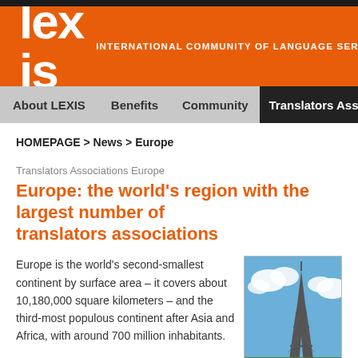Lexis — International Community of Language Services
About LEXIS | Benefits | Community | Translators Associations
HOMEPAGE > News > Europe
Translators Associations Europe
Europe: the world's region with the largest number of translators associations
Europe is the world's second-smallest continent by surface area – it covers about 10,180,000 square kilometers – and the third-most populous continent after Asia and Africa, with around 700 million inhabitants.
[Figure (photo): Photo of the Eiffel Tower against a blue sky with clouds]